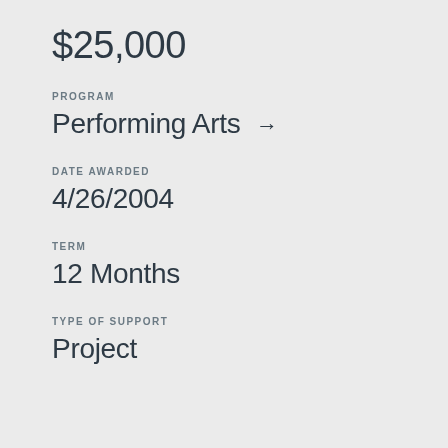$25,000
PROGRAM
Performing Arts →
DATE AWARDED
4/26/2004
TERM
12 Months
TYPE OF SUPPORT
Project